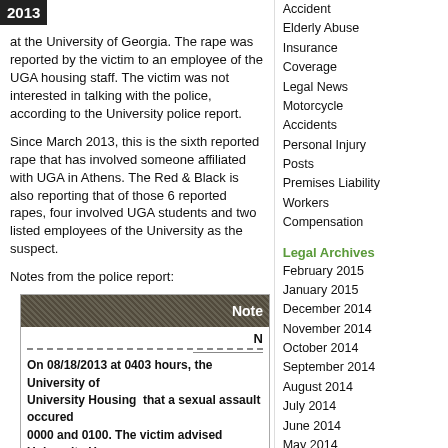2013
at the University of Georgia. The rape was reported by the victim to an employee of the UGA housing staff. The victim was not interested in talking with the police, according to the University police report.
Since March 2013, this is the sixth reported rape that has involved someone affiliated with UGA in Athens. The Red & Black is also reporting that of those 6 reported rapes, four involved UGA students and two listed employees of the University as the suspect.
Notes from the police report:
[Figure (other): Scanned police report document with dark textured header showing 'Note' and bold text: 'On 08/18/2013 at 0403 hours, the University of University Housing that a sexual assault occured between 0000 and 0100. The victim advised University person that assaulted her and that she did not']
Accident
Elderly Abuse
Insurance
Coverage
Legal News
Motorcycle
Accidents
Personal Injury
Posts
Premises Liability
Workers
Compensation
Legal Archives
February 2015
January 2015
December 2014
November 2014
October 2014
September 2014
August 2014
July 2014
June 2014
May 2014
April 2014
March 2014